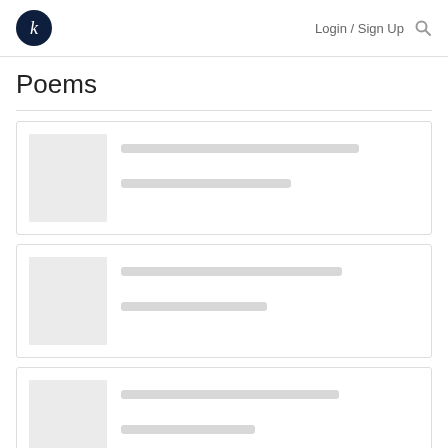Login / Sign Up
Poems
[Figure (screenshot): Placeholder card 1 with gray image box and two gray placeholder text lines]
[Figure (screenshot): Placeholder card 2 with gray image box and two gray placeholder text lines]
[Figure (screenshot): Placeholder card 3 with gray image box and two gray placeholder text lines (partially visible)]